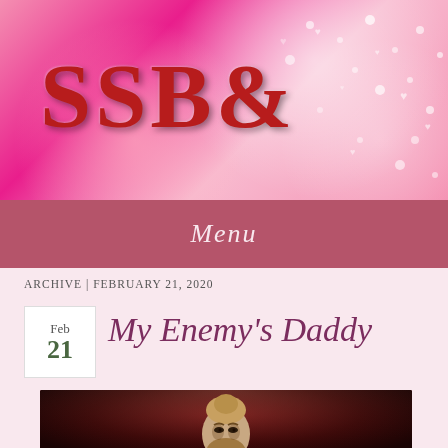[Figure (illustration): Pink bokeh/glitter banner header with large red decorative letters 'SSBE' (blog logo) on a pink sparkly background with heart bokeh lights]
Menu
ARCHIVE | FEBRUARY 21, 2020
My Enemy’s Daddy
[Figure (photo): A muscular bearded blond man with hair pulled up, wearing white, against a dark red background, looking intensely at the camera]